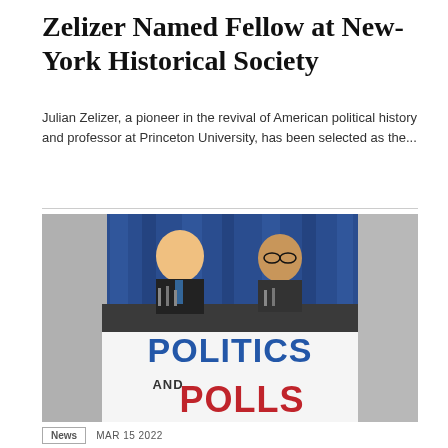Zelizer Named Fellow at New-York Historical Society
Julian Zelizer, a pioneer in the revival of American political history and professor at Princeton University, has been selected as the...
[Figure (photo): Podcast cover image showing two men in suits at a press conference podium with microphones. Blue curtain background. Large text overlay reads POLITICS AND POLLS in blue and red bold letters.]
MAR 15 2022